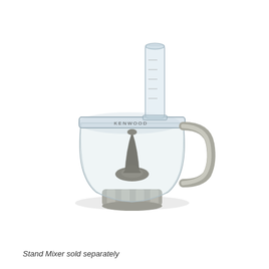[Figure (photo): A food processor bowl attachment with a clear plastic bowl, grey handle on the right side, a grey base connector at the bottom, a clear lid with a tall cylindrical feed tube on top with measurement markings, and a grey central blade hub inside the bowl. The product appears to be a Kenwood food processor attachment.]
Stand Mixer sold separately